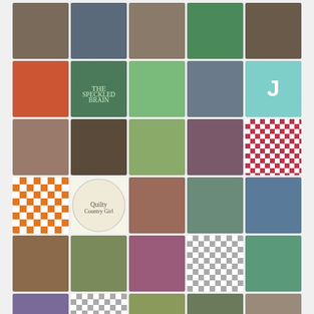[Figure (illustration): A 5-column grid of approximately 40 avatar/profile images. Each cell contains either a photograph of a person, a decorative quilt-pattern icon, a book cover thumbnail, a circular badge, or a letter avatar. Colors vary: photos show people with various skin tones and backgrounds; pattern icons use orange, red, pink, gray, and green geometric patterns; one teal circle shows the letter J.]
CATEGORIES